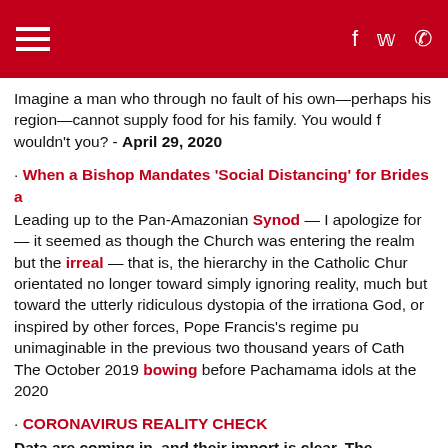≡   f  🐦  📞
Imagine a man who through no fault of his own—perhaps his region—cannot supply food for his family. You would f wouldn't you? - April 29, 2020
· When a Bishop Mandates 'Social Distancing' for Brides a
Leading up to the Pan-Amazonian Synod — I apologize for — it seemed as though the Church was entering the realm but the irreal — that is, the hierarchy in the Catholic Chur orientated no longer toward simply ignoring reality, much but toward the utterly ridiculous dystopia of the irrational God, or inspired by other forces, Pope Francis's regime pu unimaginable in the previous two thousand years of Cath The October 2019 bowing before Pachamama idols at the 2020
· CORONAVIRUS REALITY CHECK
Data are coming in, and their import is clear. The coronavi and never was a threat to society. COVID-19 poses a dang